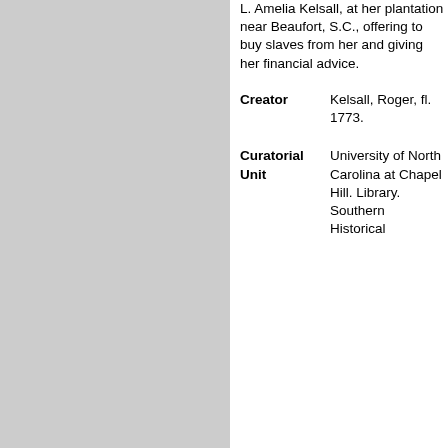L. Amelia Kelsall, at her plantation near Beaufort, S.C., offering to buy slaves from her and giving her financial advice.
Creator: Kelsall, Roger, fl. 1773.
Curatorial Unit: University of North Carolina at Chapel Hill. Library. Southern Historical